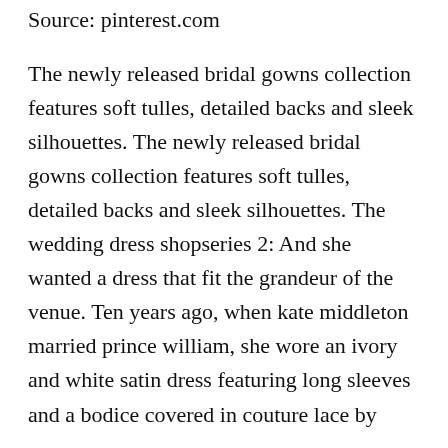Source: pinterest.com
The newly released bridal gowns collection features soft tulles, detailed backs and sleek silhouettes. The newly released bridal gowns collection features soft tulles, detailed backs and sleek silhouettes. The wedding dress shopseries 2: And she wanted a dress that fit the grandeur of the venue. Ten years ago, when kate middleton married prince william, she wore an ivory and white satin dress featuring long sleeves and a bodice covered in couture lace by